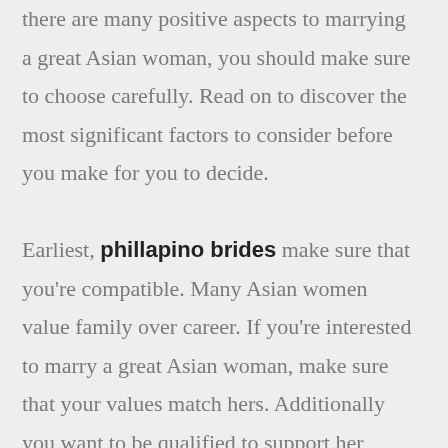there are many positive aspects to marrying a great Asian woman, you should make sure to choose carefully. Read on to discover the most significant factors to consider before you make for you to decide.

Earliest, phillapino brides make sure that you're compatible. Many Asian women value family over career. If you're interested to marry a great Asian woman, make sure that your values match hers. Additionally you want to be qualified to support her family. Should you be an American having thinking about marrying a